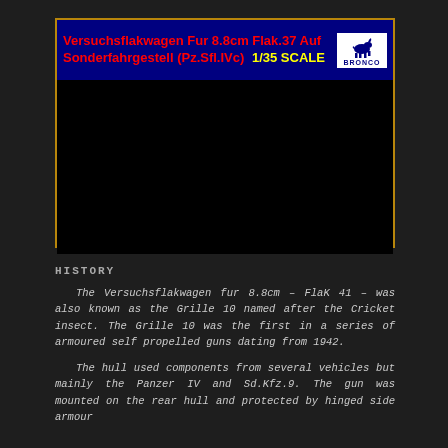[Figure (photo): Product box art for Bronco Models 1/35 scale kit of Versuchsflakwagen Fur 8.8cm Flak.37 Auf Sonderfahrgestell (Pz.Sfl.IVc). Dark box with blue header band showing red bold title text, yellow scale text, and Bronco horse logo. Box interior is black.]
HISTORY
The Versuchsflakwagen fur 8.8cm – FlaK 41 – was also known as the Grille 10 named after the Cricket insect. The Grille 10 was the first in a series of armoured self propelled guns dating from 1942.
The hull used components from several vehicles but mainly the Panzer IV and Sd.Kfz.9. The gun was mounted on the rear hull and protected by hinged side armour